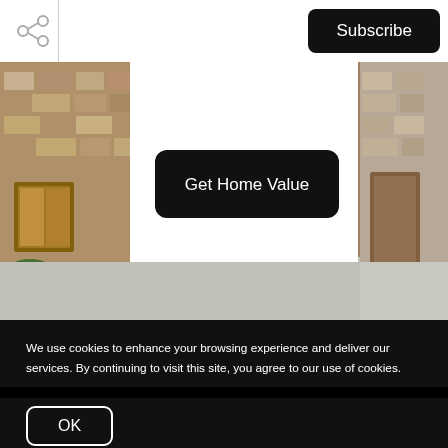Subscribe
[Figure (photo): Exterior photo of a modern house with stone facade and driveway, with a white overlay panel in the center containing a 'Get Home Value' button]
Get Home Value
We use cookies to enhance your browsing experience and deliver our services. By continuing to visit this site, you agree to our use of cookies.
OK